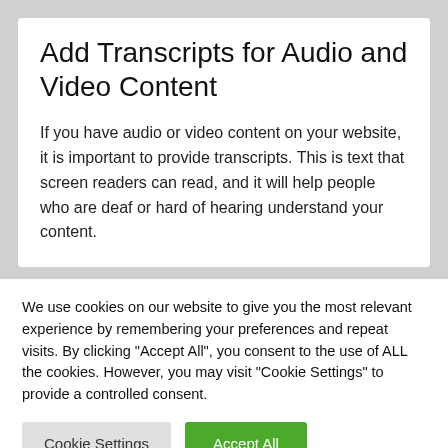Add Transcripts for Audio and Video Content
If you have audio or video content on your website, it is important to provide transcripts. This is text that screen readers can read, and it will help people who are deaf or hard of hearing understand your content.
We use cookies on our website to give you the most relevant experience by remembering your preferences and repeat visits. By clicking "Accept All", you consent to the use of ALL the cookies. However, you may visit "Cookie Settings" to provide a controlled consent.